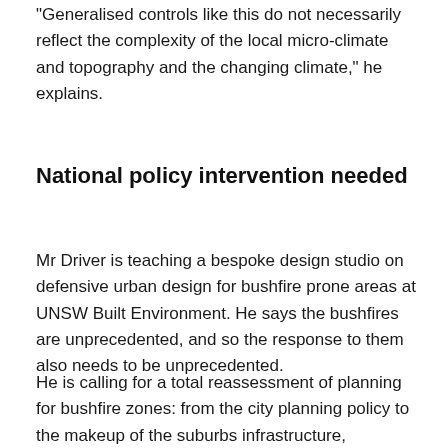"Generalised controls like this do not necessarily reflect the complexity of the local micro-climate and topography and the changing climate," he explains.
National policy intervention needed
Mr Driver is teaching a bespoke design studio on defensive urban design for bushfire prone areas at UNSW Built Environment. He says the bushfires are unprecedented, and so the response to them also needs to be unprecedented.
He is calling for a total reassessment of planning for bushfire zones: from the city planning policy to the makeup of the suburbs infrastructure,